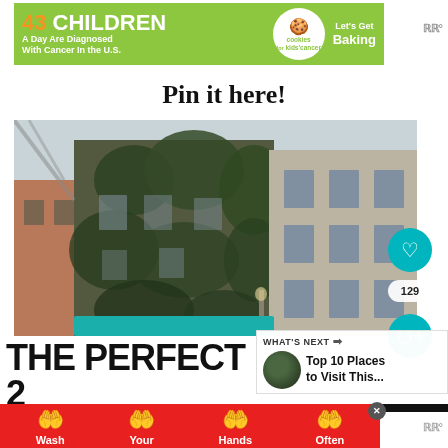[Figure (infographic): Top advertisement banner: green background with '43 CHILDREN A Day Are Diagnosed With Cancer In The U.S.' text, cookies for kids cancer logo, and Let's Get Baking call to action]
Pin it here!
[Figure (photo): Photo of ivy-covered European building facade with multiple windows, street-level shop awning visible at bottom]
THE PERFECT 2 DAY ITINERARY
[Figure (infographic): What's Next popup showing circular thumbnail and text 'Top 10 Places to Visit This...']
[Figure (infographic): Bottom advertisement banner: red background with wash your hands often message, showing four hand-washing icons with labels Wash, Your, Hands, Often]